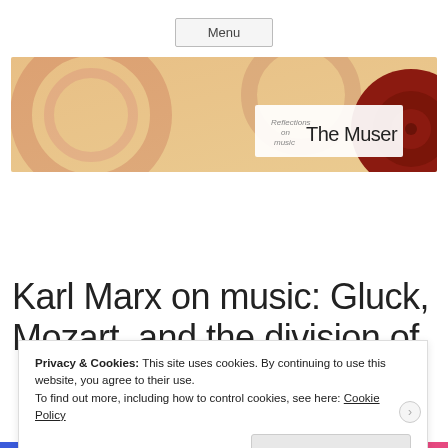Menu
[Figure (illustration): Banner image for 'The Muser' blog - Reflections on music. Shows abstract circular vinyl record shapes in warm orange/red tones with text 'Reflections on music' and 'The Muser' on a white overlay area, with a dark red vinyl record on the right side.]
Karl Marx on music: Gluck, Mozart, and the division of
Privacy & Cookies: This site uses cookies. By continuing to use this website, you agree to their use. To find out more, including how to control cookies, see here: Cookie Policy
Close and accept